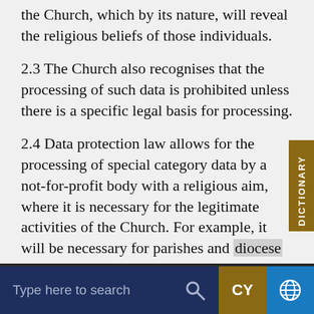the Church, which by its nature, will reveal the religious beliefs of those individuals.
2.3 The Church also recognises that the processing of such data is prohibited unless there is a specific legal basis for processing.
2.4 Data protection law allows for the processing of special category data by a not-for-profit body with a religious aim, where it is necessary for the legitimate activities of the Church. For example, it will be necessary for parishes and diocese to share the personal data of office holders within the Church in order to facilitate meetings etc.
Type here to search  CY